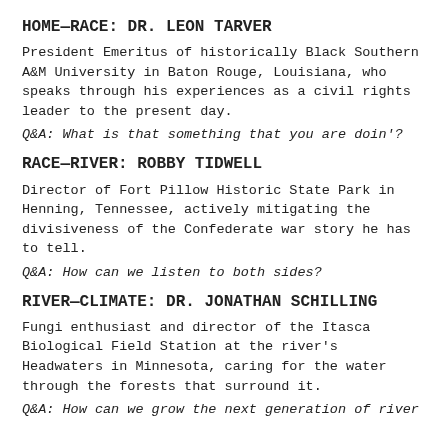HOME—RACE: DR. LEON TARVER
President Emeritus of historically Black Southern A&M University in Baton Rouge, Louisiana, who speaks through his experiences as a civil rights leader to the present day.
Q&A: What is that something that you are doin'?
RACE—RIVER: ROBBY TIDWELL
Director of Fort Pillow Historic State Park in Henning, Tennessee, actively mitigating the divisiveness of the Confederate war story he has to tell.
Q&A: How can we listen to both sides?
RIVER—CLIMATE: DR. JONATHAN SCHILLING
Fungi enthusiast and director of the Itasca Biological Field Station at the river's Headwaters in Minnesota, caring for the water through the forests that surround it.
Q&A: How can we grow the next generation of river